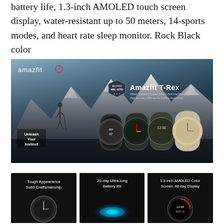battery life, 1.3-inch AMOLED touch screen display, water-resistant up to 50 meters, 14-sports modes, and heart rate sleep monitor. Rock Black color
[Figure (photo): Amazfit T-Rex smartwatch promotional banner showing multiple watch variants against a mountain backdrop. Logo top-left, 'Unleash Your Instinct' bottom-left, MIL-STD badge and 'Amazfit T-Rex' branding in center-right, watches displayed in the foreground.]
[Figure (photo): Three promotional tiles for Amazfit T-Rex: Left tile - 'Tough Appearance Solid Craftsmanship' with watch image; Center tile - '20-day Ultra-long Battery life' with glowing orb; Right tile - '1.3-inch AMOLED Color Screen, All-day Display' with watch face.]